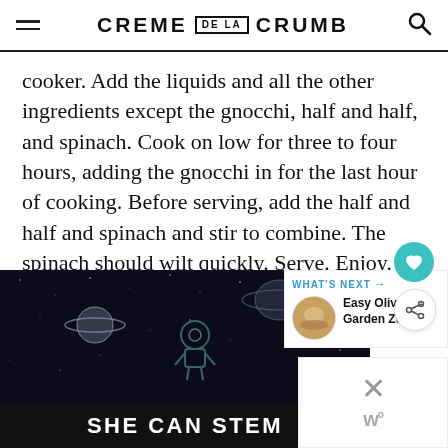CREME DE LA CRUMB
cooker. Add the liquids and all the other ingredients except the gnocchi, half and half, and spinach. Cook on low for three to four hours, adding the gnocchi in for the last hour of cooking. Before serving, add the half and half and spinach and stir to combine. The spinach should wilt quickly. Serve. Enjoy. And try not to eat it all in one sitting.
[Figure (photo): Advertisement showing a dark space scene with Saturn, a planet, and an astronaut illustration. Bold white text reads 'SHE CAN STEM'. Overlaid 'WHAT'S NEXT' panel showing Easy Olive Garden Zup... and a close/dismiss button.]